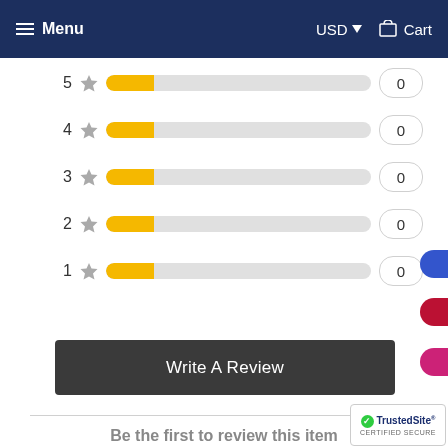Menu  USD  Cart
[Figure (bar-chart): Star ratings breakdown]
Write A Review
Be the first to review this item